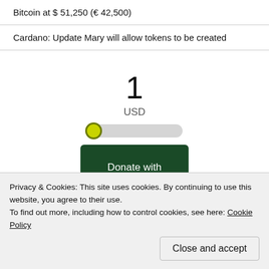Bitcoin at $ 51,250 (€ 42,500)
Cardano: Update Mary will allow tokens to be created
1
USD
[Figure (other): Horizontal slider control with yellow-green thumb at far left position]
Donate with
Privacy & Cookies: This site uses cookies. By continuing to use this website, you agree to their use.
To find out more, including how to control cookies, see here: Cookie Policy
Close and accept